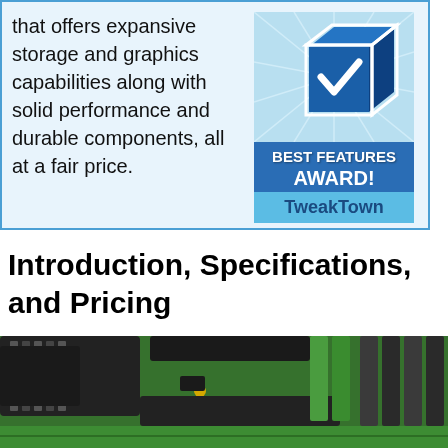that offers expansive storage and graphics capabilities along with solid performance and durable components, all at a fair price.
[Figure (logo): TweakTown Best Features Award badge — blue/white 3D checkbox icon above a dark blue banner reading 'BEST FEATURES AWARD!' and a light blue banner reading 'TweakTown']
Introduction, Specifications, and Pricing
[Figure (photo): Close-up photo of a green and black motherboard with CPU cooler, RAM slots, and various connectors visible]